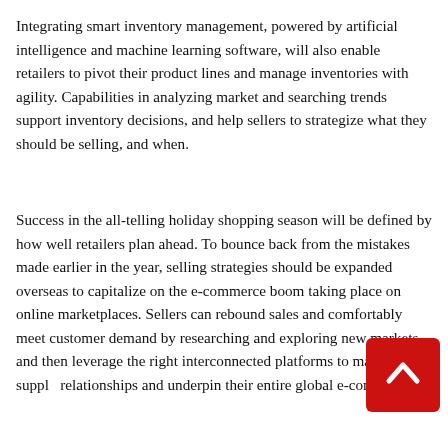Integrating smart inventory management, powered by artificial intelligence and machine learning software, will also enable retailers to pivot their product lines and manage inventories with agility. Capabilities in analyzing market and searching trends support inventory decisions, and help sellers to strategize what they should be selling, and when.
Success in the all-telling holiday shopping season will be defined by how well retailers plan ahead. To bounce back from the mistakes made earlier in the year, selling strategies should be expanded overseas to capitalize on the e-commerce boom taking place on online marketplaces. Sellers can rebound sales and comfortably meet customer demand by researching and exploring new markets, and then leverage the right interconnected platforms to manage new supply relationships and underpin their entire global e-commerce strategy. It will be the key for the long-term success that...